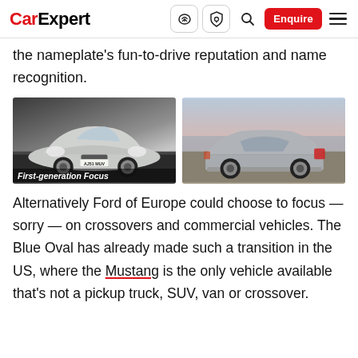CarExpert — navigation bar with logo, icons, Enquire button, and hamburger menu
the nameplate's fun-to-drive reputation and name recognition.
[Figure (photo): Two photos side by side of first-generation Ford Focus. Left: silver Ford Focus hatchback front three-quarter view on road, with license plate AJ51 MUV, captioned 'First-generation Focus'. Right: silver Ford Focus hatchback rear three-quarter view parked near coast at dusk.]
Alternatively Ford of Europe could choose to focus — sorry — on crossovers and commercial vehicles. The Blue Oval has already made such a transition in the US, where the Mustang is the only vehicle available that's not a pickup truck, SUV, van or crossover.